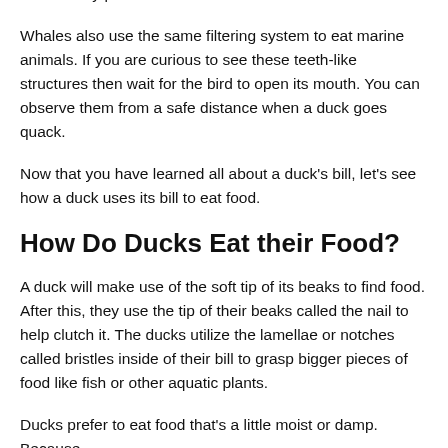comfortably pull nutrients out of water or mud.
Whales also use the same filtering system to eat marine animals. If you are curious to see these teeth-like structures then wait for the bird to open its mouth. You can observe them from a safe distance when a duck goes quack.
Now that you have learned all about a duck's bill, let's see how a duck uses its bill to eat food.
How Do Ducks Eat their Food?
A duck will make use of the soft tip of its beaks to find food. After this, they use the tip of their beaks called the nail to help clutch it. The ducks utilize the lamellae or notches called bristles inside of their bill to grasp bigger pieces of food like fish or other aquatic plants.
Ducks prefer to eat food that's a little moist or damp. Because